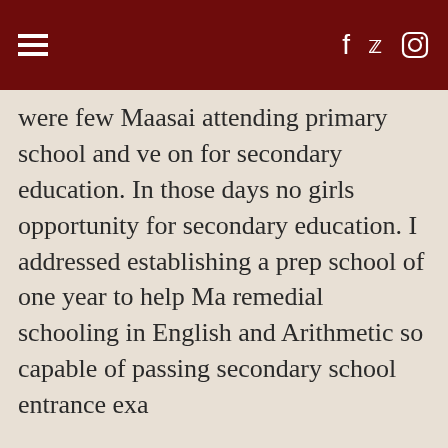were few Maasai attending primary school and ve on for secondary education. In those days no girls opportunity for secondary education. I addressed establishing a prep school of one year to help Ma remedial schooling in English and Arithmetic so capable of passing secondary school entrance exa
Over the years, with the help of Spiritans abroad able to underwrite the education of almost three and boys. Some of the fruits of this program are f clinical medical officers, five lawyers, many teach others now working in various fields among their